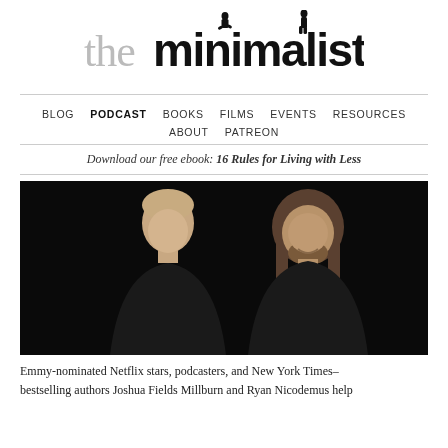[Figure (logo): The Minimalists logo — stylized text 'theminimalists' with two silhouette figures standing on letters]
BLOG  PODCAST  BOOKS  FILMS  EVENTS  RESOURCES  ABOUT  PATREON
Download our free ebook: 16 Rules for Living with Less
[Figure (photo): Black and white photo of two men in black t-shirts against a dark background — Joshua Fields Millburn and Ryan Nicodemus]
Emmy-nominated Netflix stars, podcasters, and New York Times–bestselling authors Joshua Fields Millburn and Ryan Nicodemus help